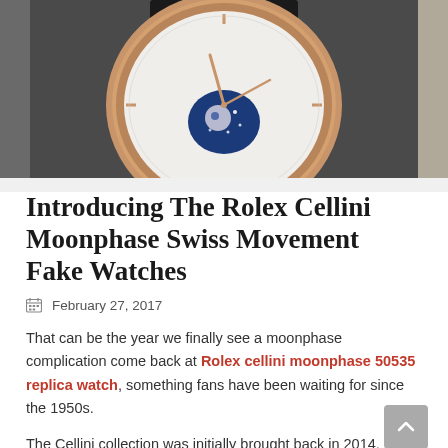[Figure (photo): Close-up photograph of a Rolex Cellini Moonphase watch with white dial, rose gold case, blue moonphase complication, and dark leather strap on a gray surface.]
Introducing The Rolex Cellini Moonphase Swiss Movement Fake Watches
February 27, 2017
That can be the year we finally see a moonphase complication come back at Rolex cellini moonphase 50535 replica watch, something fans have been waiting for since the 1950s.
The Cellini collection was initially brought back in 2014,